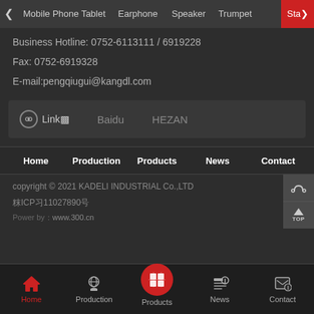Mobile Phone Tablet  Earphone  Speaker  Trumpet  Sta
Business Hotline: 0752-6113111 / 6919228
Fax: 0752-6919328
E-mail:pengqiugui@kangdl.com
Link■   Baidu   HEZAN
Home  Production  Products  News  Contact
copyright © 2021 KADELI INDUSTRIAL Co.,LTD
粥ICP爈11027890号
Power by：www.300.cn
Home  Production  Products  News  Contact